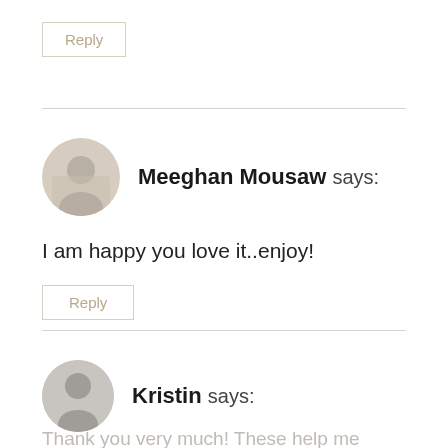Reply
Meeghan Mousaw says:
I am happy you love it..enjoy!
Reply
Kristin says:
Thank you very much! These help me